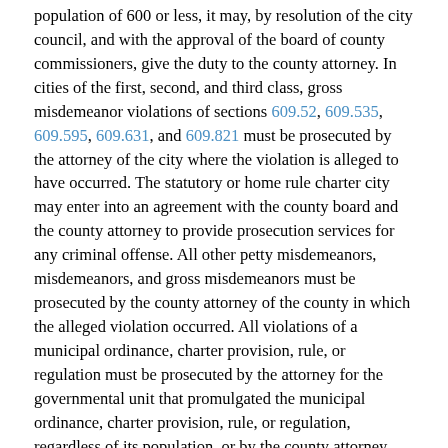population of 600 or less, it may, by resolution of the city council, and with the approval of the board of county commissioners, give the duty to the county attorney. In cities of the first, second, and third class, gross misdemeanor violations of sections 609.52, 609.535, 609.595, 609.631, and 609.821 must be prosecuted by the attorney of the city where the violation is alleged to have occurred. The statutory or home rule charter city may enter into an agreement with the county board and the county attorney to provide prosecution services for any criminal offense. All other petty misdemeanors, misdemeanors, and gross misdemeanors must be prosecuted by the county attorney of the county in which the alleged violation occurred. All violations of a municipal ordinance, charter provision, rule, or regulation must be prosecuted by the attorney for the governmental unit that promulgated the municipal ordinance, charter provision, rule, or regulation, regardless of its population, or by the county attorney with whom it has contracted to prosecute these matters.
In the counties of Anoka, Carver, Dakota, Scott, and Washington, violations of state law that are petty misdemeanors, misdemeanors, or gross misdemeanors except